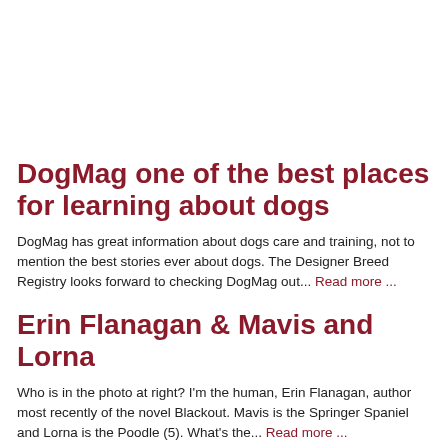DogMag one of the best places for learning about dogs
DogMag has great information about dogs care and training, not to mention the best stories ever about dogs. The Designer Breed Registry looks forward to checking DogMag out... Read more ...
Erin Flanagan & Mavis and Lorna
Who is in the photo at right? I'm the human, Erin Flanagan, author most recently of the novel Blackout. Mavis is the Springer Spaniel and Lorna is the Poodle (5). What's the... Read more ...
Dad Of “Smallest Dog” In The World’